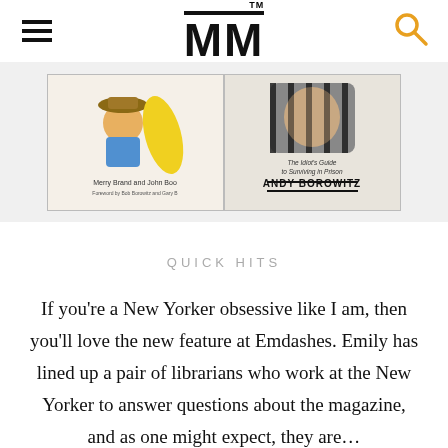MM
[Figure (photo): Two book covers side by side on a light gray background. Left cover: cartoon cowboy illustration with 'Merry Brand and John Boo' text. Right cover: photo of Andy Borowitz behind bars, titled 'The Idiot's Guide to Surviving in Prison' by Andy Borowitz.]
QUICK HITS
If you’re a New Yorker obsessive like I am, then you’ll love the new feature at Emdashes. Emily has lined up a pair of librarians who work at the New Yorker to answer questions about the magazine, and as one might expect, they are…